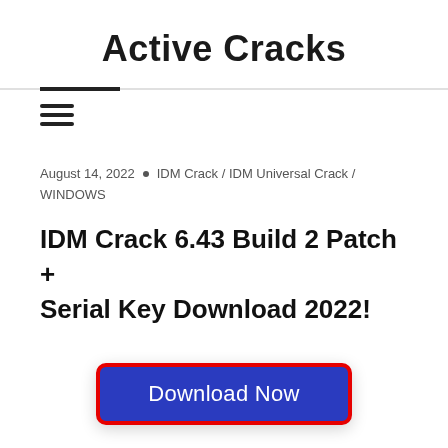Active Cracks
[Figure (other): Hamburger menu icon (three horizontal bars)]
August 14, 2022 • IDM Crack / IDM Universal Crack / WINDOWS
IDM Crack 6.43 Build 2 Patch + Serial Key Download 2022!
[Figure (other): Download Now button — blue rounded rectangle with red border]